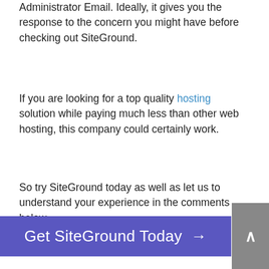Administrator Email. Ideally, it gives you the response to the concern you might have before checking out SiteGround.
If you are looking for a top quality hosting solution while paying much less than other web hosting, this company could certainly work.
So try SiteGround today as well as let us to understand your experience in the comments below.
[Figure (other): Call-to-action button: 'Get SiteGround Today →' in white text on purple background, with a grey scroll-to-top button on the right]